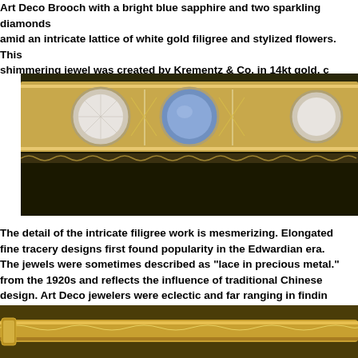Art Deco Brooch with a bright blue sapphire and two sparkling diamonds amid an intricate lattice of white gold filigree and stylized flowers. This shimmering jewel was created by Krementz & Co. in 14kt gold, c
[Figure (photo): Close-up photograph of an Art Deco bracelet or brooch featuring intricate white gold filigree work with a blue sapphire center stone flanked by round diamonds, set against a dark background]
The detail of the intricate filigree work is mesmerizing. Elongated fine tracery designs first found popularity in the Edwardian era. The jewels were sometimes described as "lace in precious metal." from the 1920s and reflects the influence of traditional Chinese design. Art Deco jewelers were eclectic and far ranging in findin
[Figure (photo): Photograph of an Art Deco gold bracelet or brooch showing the side profile with detailed filigree and engraving work against a dark background]